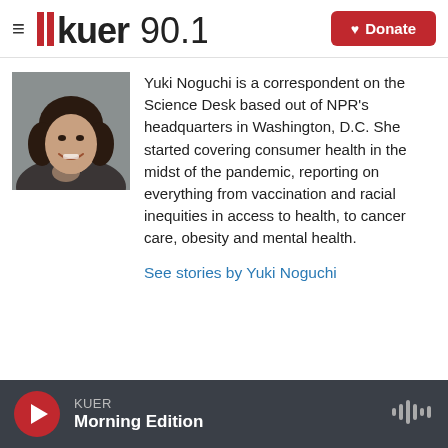KUER 90.1 — Donate
[Figure (photo): Portrait photo of Yuki Noguchi, a woman with dark hair, smiling, wearing a dark top]
Yuki Noguchi is a correspondent on the Science Desk based out of NPR's headquarters in Washington, D.C. She started covering consumer health in the midst of the pandemic, reporting on everything from vaccination and racial inequities in access to health, to cancer care, obesity and mental health.
See stories by Yuki Noguchi
KUER Morning Edition